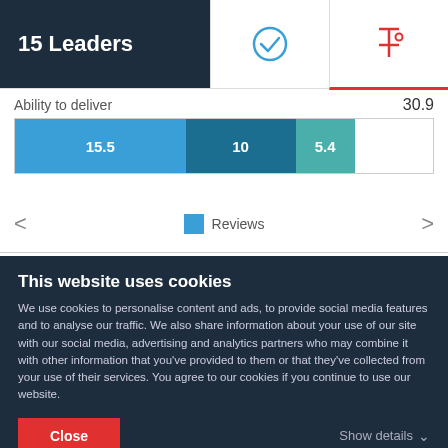15 Leaders
Ability to deliver  30.9
[Figure (stacked-bar-chart): Ability to deliver]
Reviews
Service Focus
[Figure (stacked-bar-chart): Service Focus]
This website uses cookies
We use cookies to personalise content and ads, to provide social media features and to analyse our traffic. We also share information about your use of our site with our social media, advertising and analytics partners who may combine it with other information that you've provided to them or that they've collected from your use of their services. You agree to our cookies if you continue to use our website.
Close
Show details